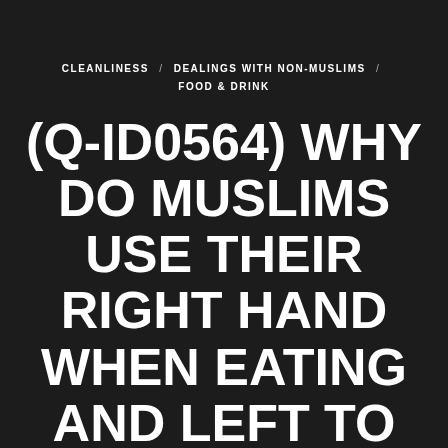CLEANLINESS / DEALINGS WITH NON-MUSLIMS / FOOD & DRINK
(Q-ID0564) WHY DO MUSLIMS USE THEIR RIGHT HAND WHEN EATING AND LEFT TO WASH THEMSELVES WHEN IN THE LAVATORY?